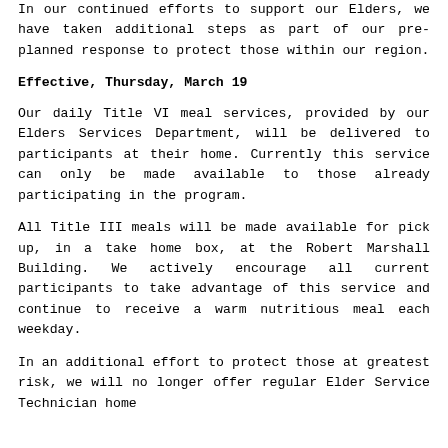In our continued efforts to support our Elders, we have taken additional steps as part of our pre-planned response to protect those within our region.
Effective, Thursday, March 19
Our daily Title VI meal services, provided by our Elders Services Department, will be delivered to participants at their home. Currently this service can only be made available to those already participating in the program.
All Title III meals will be made available for pick up, in a take home box, at the Robert Marshall Building. We actively encourage all current participants to take advantage of this service and continue to receive a warm nutritious meal each weekday.
In an additional effort to protect those at greatest risk, we will no longer offer regular Elder Service Technician home